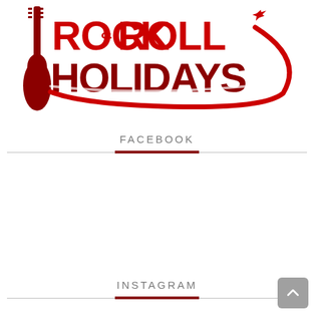[Figure (logo): Rock & Roll Holidays logo — bold red stylized text 'ROCK & ROLL' on top line and 'HOLIDAYS' on bottom line, with a red electric guitar silhouette on the left and a red airplane with a sweeping curved trail arc on the right]
FACEBOOK
INSTAGRAM